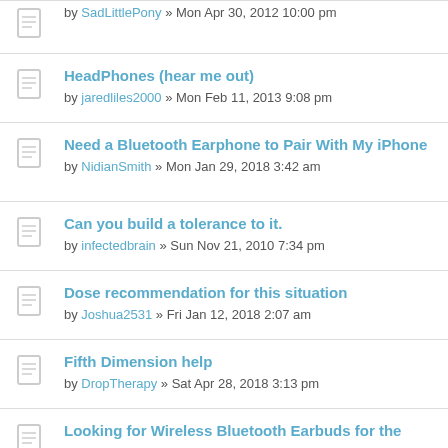by SadLittlePony » Mon Apr 30, 2012 10:00 pm
HeadPhones (hear me out)
by jaredliles2000 » Mon Feb 11, 2013 9:08 pm
Need a Bluetooth Earphone to Pair With My iPhone
by NidianSmith » Mon Jan 29, 2018 3:42 am
Can you build a tolerance to it.
by infectedbrain » Sun Nov 21, 2010 7:34 pm
Dose recommendation for this situation
by Joshua2531 » Fri Jan 12, 2018 2:07 am
Fifth Dimension help
by DropTherapy » Sat Apr 28, 2018 3:13 pm
Looking for Wireless Bluetooth Earbuds for the gym
by NidianSmith » Thu Jan 25, 2018 3:39 am